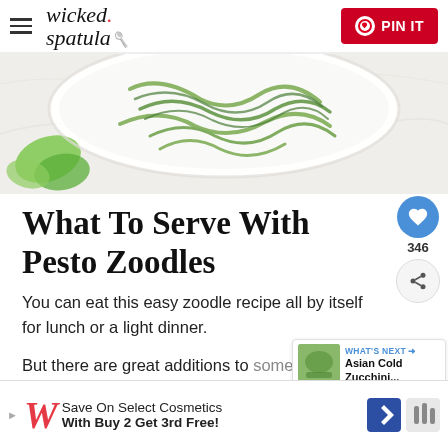wicked spatula — PIN IT
[Figure (photo): Top-down view of a white plate with pesto zoodles (zucchini noodles) and basil leaves on a marble surface]
What To Serve With Pesto Zoodles
You can eat this easy zoodle recipe all by itself for lunch or a light dinner.
But there are great additions to some of these zucchini noodles
[Figure (photo): WHAT'S NEXT widget showing Asian Cold Zucchini... with a small food thumbnail]
[Figure (screenshot): Advertisement: Save On Select Cosmetics With Buy 2 Get 3rd Free! — Walgreens ad banner]